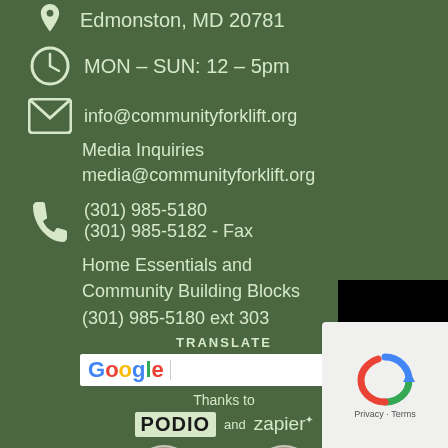Edmonston, MD 20781
MON – SUN: 12 – 5pm
info@communityforklift.org
Media Inquiries
media@communityforklift.org
(301) 985-5180
(301) 985-5182 - Fax
Home Essentials and Community Building Blocks
(301) 985-5180 ext 303
TRANSLATE
[Figure (screenshot): Google Translate dropdown widget]
Thanks to
[Figure (logo): PODIO and zapier logos]
[Figure (logo): reCAPTCHA badge - Privacy Terms]